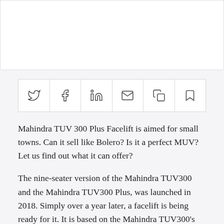[Figure (photo): White image placeholder area at top of page]
[Figure (infographic): Social sharing bar with icons: Twitter, Facebook, LinkedIn, Email, Copy, Bookmark]
Mahindra TUV 300 Plus Facelift is aimed for small towns. Can it sell like Bolero? Is it a perfect MUV? Let us find out what it can offer?
The nine-seater version of the Mahindra TUV300 and the Mahindra TUV300 Plus, was launched in 2018. Simply over a year later, a facelift is being ready for it. It is based on the Mahindra TUV300's platform and also shares the majority of its parts and body panels with its donor vehicle. Thus revealing the fact that the revamped multi-utility vehicle is